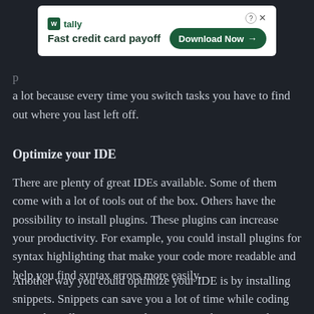[Figure (other): Advertisement banner for Tally app - Fast credit card payoff, with Download Now button]
backtrack a lot because every time you switch tasks you have to find out where you last left off.
Optimize your IDE
There are plenty of great IDEs available. Some of them come with a lot of tools out of the box. Others have the possibility to install plugins. These plugins can increase your productivity. For example, you could install plugins for syntax highlighting that make your code more readable and help you find syntax errors more easily.
Another way you could optimize your IDE is by installing snippets. Snippets can save you a lot of time while coding since they allow you to not keep writing the same code